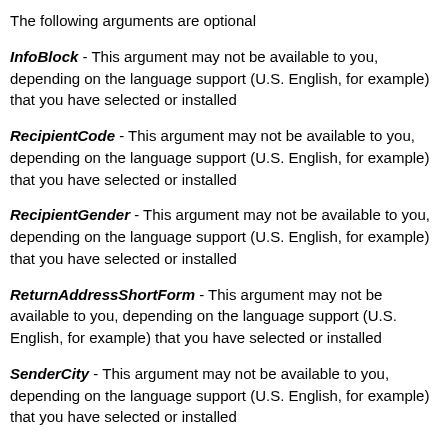The following arguments are optional
InfoBlock - This argument may not be available to you, depending on the language support (U.S. English, for example) that you have selected or installed
RecipientCode - This argument may not be available to you, depending on the language support (U.S. English, for example) that you have selected or installed
RecipientGender - This argument may not be available to you, depending on the language support (U.S. English, for example) that you have selected or installed
ReturnAddressShortForm - This argument may not be available to you, depending on the language support (U.S. English, for example) that you have selected or installed
SenderCity - This argument may not be available to you, depending on the language support (U.S. English, for example) that you have selected or installed